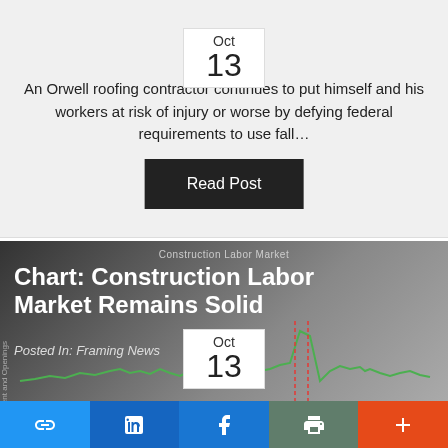and Health Administration
[Figure (other): Date badge showing Oct 13]
An Orwell roofing contractor continues to put himself and his workers at risk of injury or worse by defying federal requirements to use fall…
Read Post
[Figure (line-chart): Line chart showing construction labor market employment and openings data with green line and red dashed vertical markers]
Chart: Construction Labor Market Remains Solid
Posted In: Framing News
[Figure (other): Date badge showing Oct 13]
Social sharing bar with link, LinkedIn, Facebook, print, and more buttons